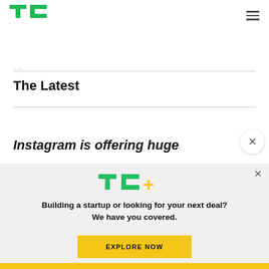TechCrunch logo and navigation
The Latest
Instagram is offering huge
[Figure (logo): TC+ logo with green TC letters and yellow/green plus sign]
Building a startup or looking for your next deal? We have you covered.
EXPLORE NOW